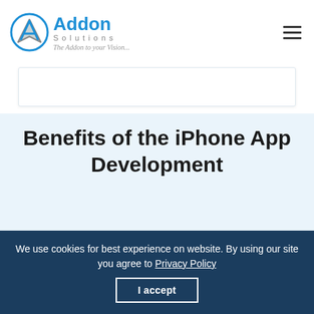Addon Solutions — The Addon to your Vision...
Benefits of the iPhone App Development
We use cookies for best experience on website. By using our site you agree to Privacy Policy
I accept